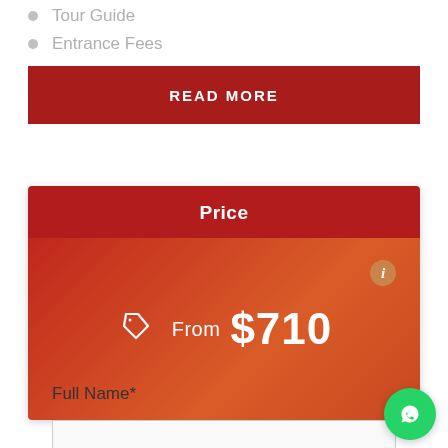Tour Guide
Entrance Fees
READ MORE
Price
From $710
Full Name*